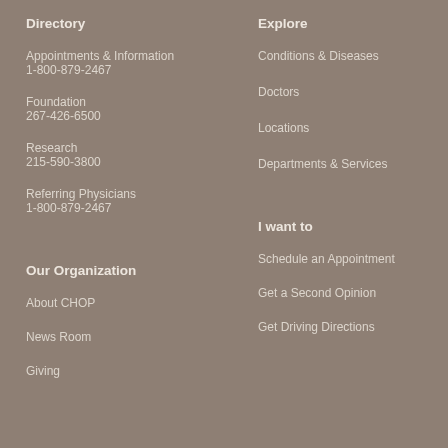Directory
Appointments & Information
1-800-879-2467
Foundation
267-426-6500
Research
215-590-3800
Referring Physicians
1-800-879-2467
Explore
Conditions & Diseases
Doctors
Locations
Departments & Services
Our Organization
About CHOP
News Room
Giving
I want to
Schedule an Appointment
Get a Second Opinion
Get Driving Directions